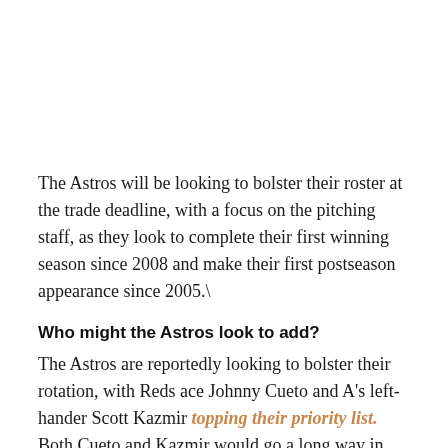The Astros will be looking to bolster their roster at the trade deadline, with a focus on the pitching staff, as they look to complete their first winning season since 2008 and make their first postseason appearance since 2005.\
Who might the Astros look to add?
The Astros are reportedly looking to bolster their rotation, with Reds ace Johnny Cueto and A's left-hander Scott Kazmir topping their priority list. Both Cueto and Kazmir would go a long way in bolstering an